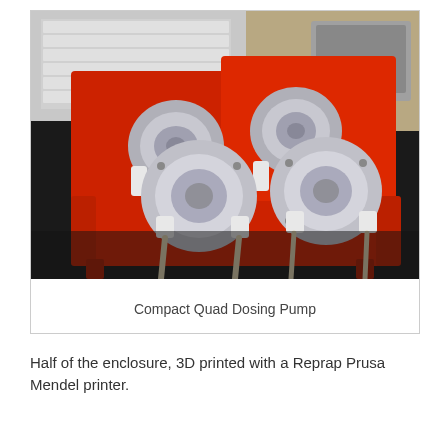[Figure (photo): A 3D-printed red plastic enclosure (half of the enclosure for a Compact Quad Dosing Pump) sitting on a dark surface. Four peristaltic pump heads with silver/grey metallic discs and white plastic fittings are mounted in two rows on the red frame. Flexible tubing hangs down from the pump outlets. A white keyboard and laptop are visible in the background.]
Compact Quad Dosing Pump
Half of the enclosure, 3D printed with a Reprap Prusa Mendel printer.